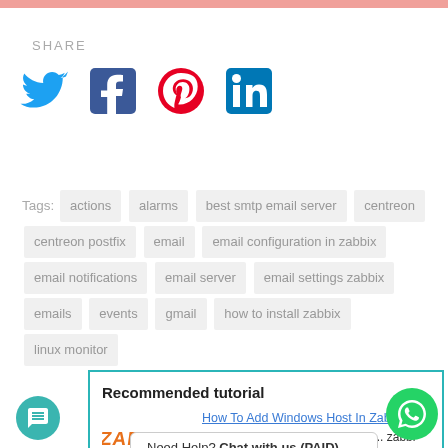SHARE
[Figure (illustration): Social media share icons: Twitter (blue bird), Facebook (blue F), Pinterest (red P), LinkedIn (blue in)]
Tags: actions alarms best smtp email server centreon centreon postfix email email configuration in zabbix email notifications email server email settings zabbix emails events gmail how to install zabbix linux monitor
Recommended tutorial
[Figure (logo): Zabbix 3.2.6 logo in orange/red stylized text]
How To Add Windows Host In Zabbix 3...
I have to configure add windows... zabbi server. Check windows...
Need Help? Chat with us (PAID)